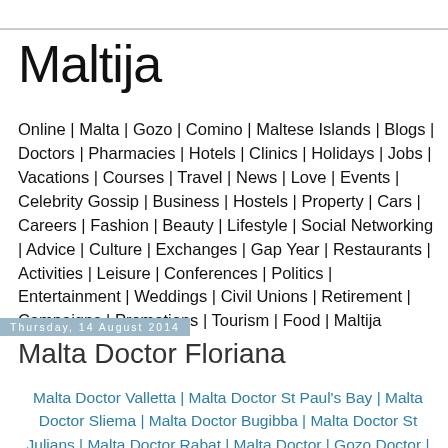Maltija
Online | Malta | Gozo | Comino | Maltese Islands | Blogs | Doctors | Pharmacies | Hotels | Clinics | Holidays | Jobs | Vacations | Courses | Travel | News | Love | Events | Celebrity Gossip | Business | Hostels | Property | Cars | Careers | Fashion | Beauty | Lifestyle | Social Networking | Advice | Culture | Exchanges | Gap Year | Restaurants | Activities | Leisure | Conferences | Politics | Entertainment | Weddings | Civil Unions | Retirement | Campaigns | Promotions | Tourism | Food | Maltija
Thursday, 14 August 2014
Malta Doctor Floriana
Malta Doctor Valletta | Malta Doctor St Paul's Bay | Malta Doctor Sliema | Malta Doctor Bugibba | Malta Doctor St Julians | Malta Doctor Rabat | Malta Doctor | Gozo Doctor |